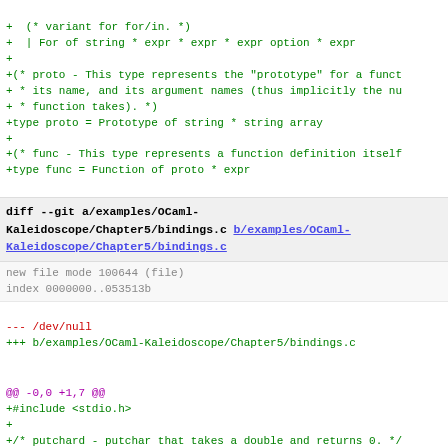+  (* variant for for/in. *)
+  | For of string * expr * expr * expr option * expr
+
+(* proto - This type represents the "prototype" for a funct
+ * its name, and its argument names (thus implicitly the nu
+ * function takes). *)
+type proto = Prototype of string * string array
+
+(* func - This type represents a function definition itself
+type func = Function of proto * expr
diff --git a/examples/OCaml-Kaleidoscope/Chapter5/bindings.c b/examples/OCaml-Kaleidoscope/Chapter5/bindings.c
new file mode 100644 (file)
index 0000000..053513b
--- /dev/null
+++ b/examples/OCaml-Kaleidoscope/Chapter5/bindings.c
@@ -0,0 +1,7 @@
+#include <stdio.h>
+
+/* putchard - putchar that takes a double and returns 0. */
+extern double putchard(double X) {
+  putchar((char)X);
+  return 0;
+}
diff --git a/examples/OCaml-Kaleidoscope/Chapter5/codegen.ml b/examples/OCaml-Kaleidoscope/Chapter5/codegen.ml
new file mode 100644 (file)
index 0000000..e0db2d2